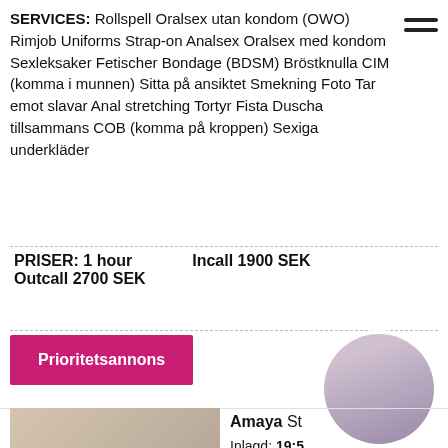SERVICES: Rollspell Oralsex utan kondom (OWO) Rimjob Uniforms Strap-on Analsex Oralsex med kondom Sexleksaker Fetischer Bondage (BDSM) Bröstknulla CIM (komma i munnen) Sitta på ansiktet Smekning Foto Tar emot slavar Anal stretching Tortyr Fista Duscha tillsammans COB (komma på kroppen) Sexiga underkläder
PRISER: 1 hour   Incall 1900 SEK
Outcall 2700 SEK
Prioritetsannons
[Figure (photo): Photo of a blonde woman in red outfit]
[Figure (photo): Circular profile photo of a dark-haired woman]
Amaya St...
Inlagd: 19:5...
Profil: 46820726...
Verification: Me...